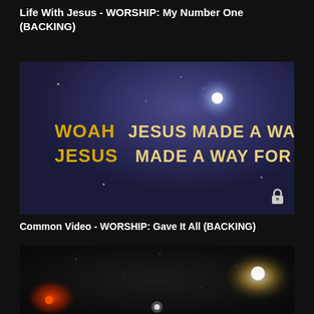Life With Jesus - WORSHIP: My Number One (BACKING)
[Figure (screenshot): Dark blue/purple space-like background with gold bold text reading 'WOAH JESUS MADE A WAY JESUS MADE A WAY FOR ME'. A bright light flare appears in the upper right. Small sparkle dots scattered. Lock icon in bottom right corner.]
Common Video - WORSHIP: Gave It All (BACKING)
[Figure (screenshot): Dark space background with stars, a red-orange glowing light on the left side and a bright white/orange glow on the right. A small bright dot near the bottom center.]